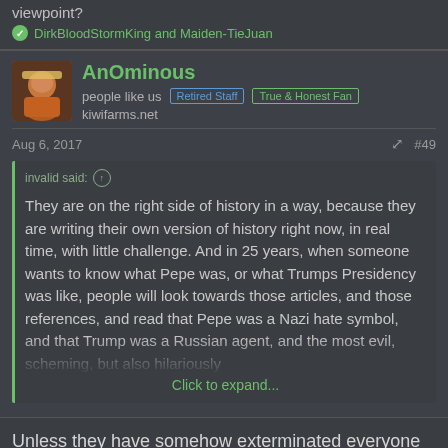viewpoint?
DirkBloodStormKing and Maiden-TieJuan
AnOminous
people like us  Retired Staff  True & Honest Fan
kiwifarms.net
Aug 6, 2017
#49
invalid said:
They are on the right side of history in a way, because they are writing their own version of history right now, in real time, with little challenge. And in 25 years, when someone wants to know what Pepe was, or what Trumps Presidency was like, people will look towards those articles, and those references, and read that Pepe was a Nazi hate symbol, and that Trump was a Russian agent, and the most evil, scheming, but also hilariously
Click to expand...
Unless they have somehow exterminated everyone now alive, possibly the people who will still be alive